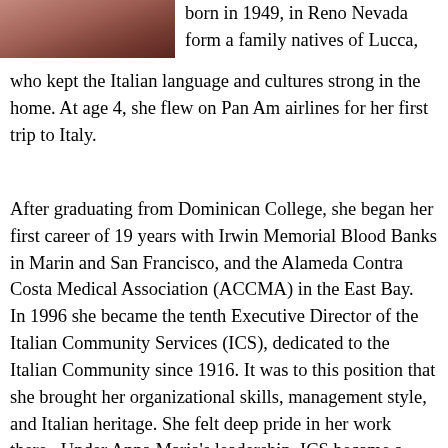[Figure (photo): Partial photograph of a person, cropped at top-left corner of page]
born in 1949, in Reno Nevada form a family natives of Lucca, who kept the Italian language and cultures strong in the home. At age 4, she flew on Pan Am airlines for her first trip to Italy.
After graduating from Dominican College, she began her first career of 19 years with Irwin Memorial Blood Banks in Marin and San Francisco, and the Alameda Contra Costa Medical Association (ACCMA) in the East Bay.  In 1996 she became the tenth Executive Director of the Italian Community Services (ICS), dedicated to the Italian Community since 1916. It was to this position that she brought her organizational skills, management style, and Italian heritage. She felt deep pride in her work there.  Under Anna Maria's leadership, ICS became a national model for Italian